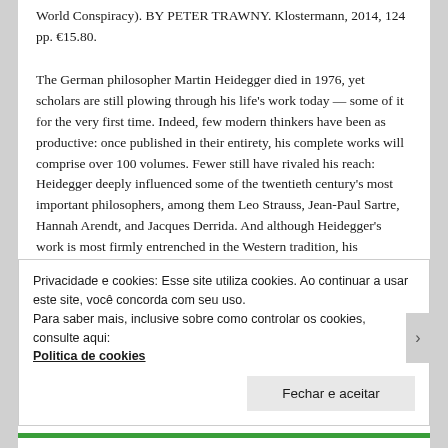World Conspiracy). BY PETER TRAWNY. Klostermann, 2014, 124 pp. €15.80.
The German philosopher Martin Heidegger died in 1976, yet scholars are still plowing through his life's work today — some of it for the very first time. Indeed, few modern thinkers have been as productive: once published in their entirety, his complete works will comprise over 100 volumes. Fewer still have rivaled his reach: Heidegger deeply influenced some of the twentieth century's most important philosophers, among them Leo Strauss, Jean-Paul Sartre, Hannah Arendt, and Jacques Derrida. And although Heidegger's work is most firmly entrenched in the Western tradition, his readership is global, with serious followings in Latin America, China, Japan, and even Iran.
Privacidade e cookies: Esse site utiliza cookies. Ao continuar a usar este site, você concorda com seu uso.
Para saber mais, inclusive sobre como controlar os cookies, consulte aqui:
Politica de cookies
Fechar e aceitar